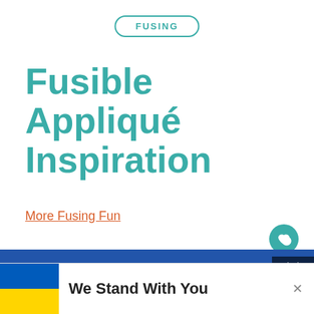FUSING
Fusible Appliqué Inspiration
More Fusing Fun
[Figure (illustration): Colorful appliqué cityscape illustration with bright buildings in pink, orange, teal, green and purple against a blue sky with white clouds]
We Stand With You